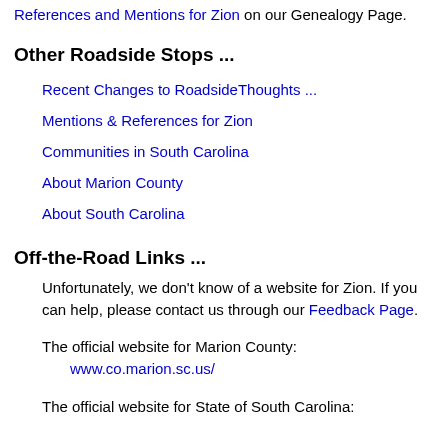References and Mentions for Zion on our Genealogy Page.
Other Roadside Stops ...
Recent Changes to RoadsideThoughts ...
Mentions & References for Zion
Communities in South Carolina
About Marion County
About South Carolina
Off-the-Road Links ...
Unfortunately, we don't know of a website for Zion. If you can help, please contact us through our Feedback Page.
The official website for Marion County: www.co.marion.sc.us/
The official website for State of South Carolina: